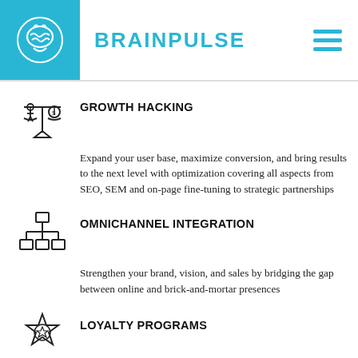BRAINPULSE
[Figure (illustration): Scale/balance icon with person on left and coin on right (Growth Hacking icon)]
GROWTH HACKING
Expand your user base, maximize conversion, and bring results to the next level with optimization covering all aspects from SEO, SEM and on-page fine-tuning to strategic partnerships
[Figure (illustration): Network/hierarchy tree icon (Omnichannel Integration icon)]
OMNICHANNEL INTEGRATION
Strengthen your brand, vision, and sales by bridging the gap between online and brick-and-mortar presences
[Figure (illustration): Badge/star icon (Loyalty Programs icon)]
LOYALTY PROGRAMS